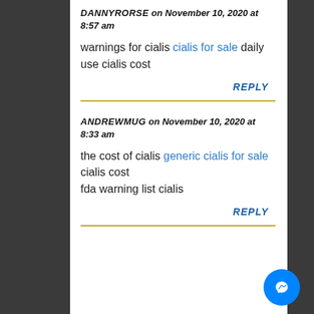DANNYRORSE on November 10, 2020 at 8:57 am
warnings for cialis cialis for sale daily use cialis cost
REPLY
ANDREWMUG on November 10, 2020 at 8:33 am
the cost of cialis generic cialis for sale
cialis cost
fda warning list cialis
REPLY